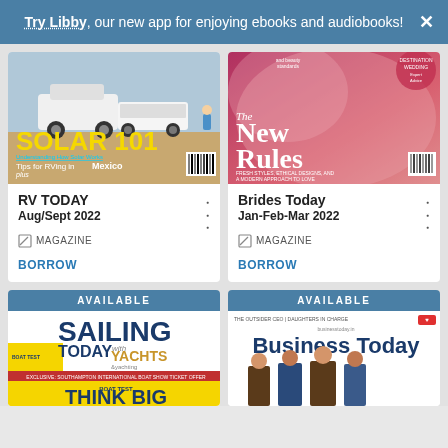Try Libby, our new app for enjoying ebooks and audiobooks!
[Figure (screenshot): RV TODAY magazine cover showing SUV with trailer, text SOLAR 101, Tips for RVing in Mexico]
RV TODAY
Aug/Sept 2022
MAGAZINE
BORROW
[Figure (screenshot): Brides Today magazine cover showing The New Rules in white text on pink/rose background]
Brides Today
Jan-Feb-Mar 2022
MAGAZINE
BORROW
[Figure (screenshot): Sailing Today with Yachts magazine cover with AVAILABLE header, text THINK BIG]
[Figure (screenshot): Business Today magazine cover with AVAILABLE header, showing group of business people]